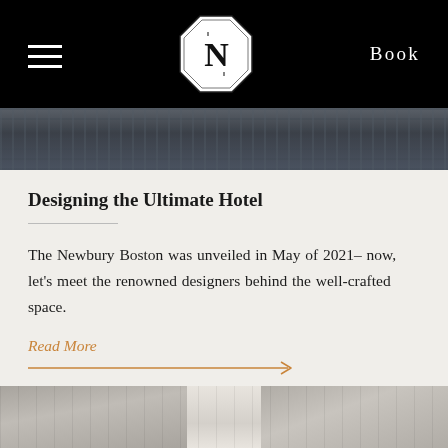Book
[Figure (photo): Dark overhead photograph of a patterned hotel floor or rug, top image strip]
Designing the Ultimate Hotel
The Newbury Boston was unveiled in May of 2021– now, let's meet the renowned designers behind the well-crafted space.
Read More
[Figure (photo): Bottom strip showing grey curtain fabric panels]